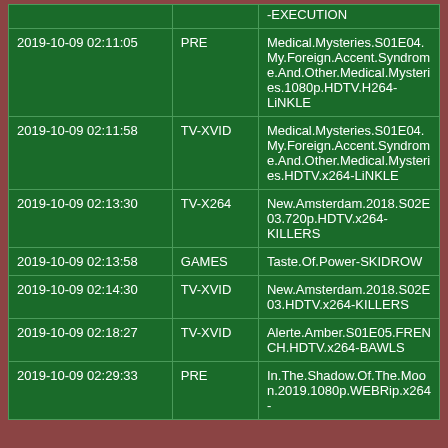| Date/Time | Category | Title |
| --- | --- | --- |
|  |  | -EXECUTION |
| 2019-10-09 02:11:05 | PRE | Medical.Mysteries.S01E04.My.Foreign.Accent.Syndrome.And.Other.Medical.Mysteries.1080p.HDTV.H264-LiNKLE |
| 2019-10-09 02:11:58 | TV-XVID | Medical.Mysteries.S01E04.My.Foreign.Accent.Syndrome.And.Other.Medical.Mysteries.HDTV.x264-LiNKLE |
| 2019-10-09 02:13:30 | TV-X264 | New.Amsterdam.2018.S02E03.720p.HDTV.x264-KILLERS |
| 2019-10-09 02:13:58 | GAMES | Taste.Of.Power-SKIDROW |
| 2019-10-09 02:14:30 | TV-XVID | New.Amsterdam.2018.S02E03.HDTV.x264-KILLERS |
| 2019-10-09 02:18:27 | TV-XVID | Alerte.Amber.S01E05.FRENCH.HDTV.x264-BAWLS |
| 2019-10-09 02:29:33 | PRE | In.The.Shadow.Of.The.Moon.2019.1080p.WEBRip.x264-... |